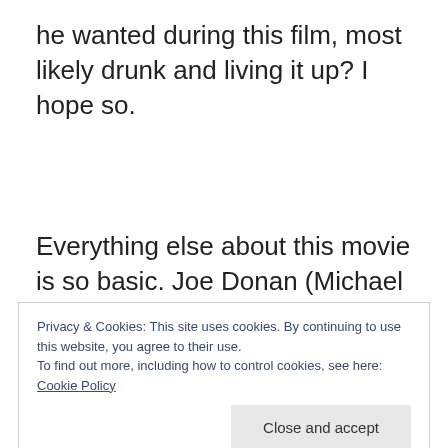he wanted during this film, most likely drunk and living it up? I hope so.
Everything else about this movie is so basic. Joe Donan (Michael Biehn, the man I will always remember from The Abyss as Lt. Coffey) is a con artist who accidentally shot his dad, Mike Donan (James Coburn) in a con. With his father's last dying wish, Joe
Privacy & Cookies: This site uses cookies. By continuing to use this website, you agree to their use.
To find out more, including how to control cookies, see here: Cookie Policy
Close and accept
[Figure (photo): Bottom of a photo showing a person, partially visible]